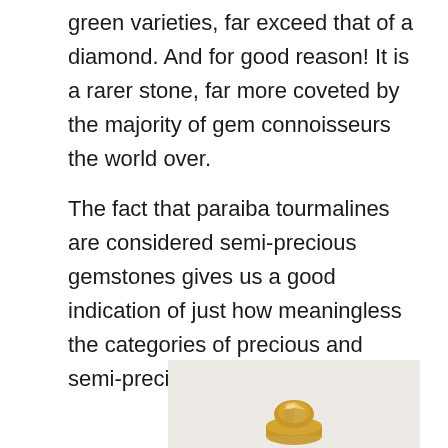green varieties, far exceed that of a diamond. And for good reason! It is a rarer stone, far more coveted by the majority of gem connoisseurs the world over.
The fact that paraiba tourmalines are considered semi-precious gemstones gives us a good indication of just how meaningless the categories of precious and semi-precious are.
[Figure (photo): A gold gemstone ring photographed against a light beige/grey background, partially visible at the bottom of the image.]